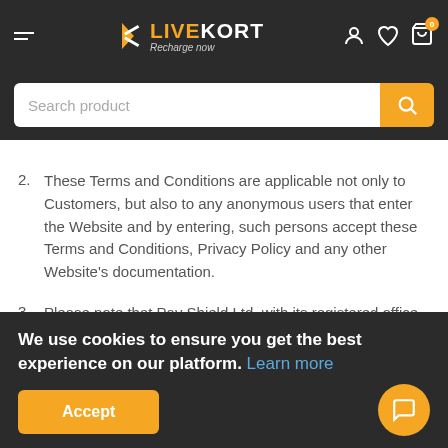LIVEKORT — Recharge now
Search product
2. These Terms and Conditions are applicable not only to Customers, but also to any anonymous users that enter the Website and by entering, such persons accept these Terms and Conditions, Privacy Policy and any other Website's documentation.
3. Please note that Pay Shield Ltd, with its registered office at Westwood Business Centre Unit 5a (5 a C)...
We use cookies to ensure you get the best experience on our platform. Learn more
Accept